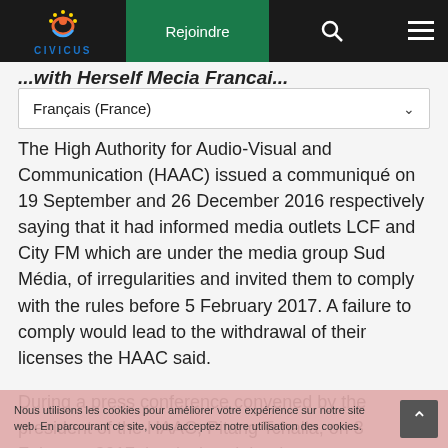CIVICUS — Rejoindre navigation bar with search and menu
...with Herself Mecia Francai...
Français (France)
The High Authority for Audio-Visual and Communication (HAAC) issued a communiqué on 19 September and 26 December 2016 respectively saying that it had informed media outlets LCF and City FM which are under the media group Sud Média, of irregularities and invited them to comply with the rules before 5 February 2017. A failure to comply would lead to the withdrawal of their licenses the HAAC said.
During a press conference convened by the president of the HAAC, Pitang Tchalla, on 3 February 2017, he declared that he was not aware of the existence of documents constituting a file of the Sud Média group and announced they will be closed after 5 February 2017.
The director of the Sud Média group, Luc Abaki, confirmed
Nous utilisons les cookies pour améliorer votre expérience sur notre site web. En parcourant ce site, vous acceptez notre utilisation des cookies.